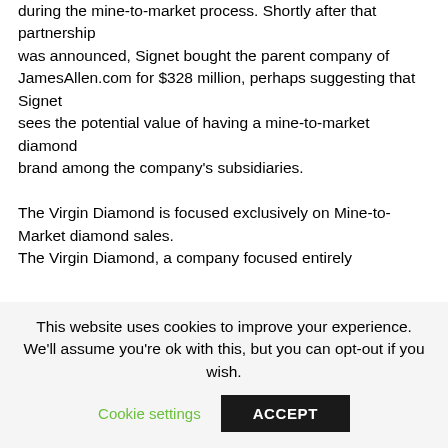during the mine-to-market process. Shortly after that partnership was announced, Signet bought the parent company of JamesAllen.com for $328 million, perhaps suggesting that Signet sees the potential value of having a mine-to-market diamond brand among the company's subsidiaries.

The Virgin Diamond is focused exclusively on Mine-to-Market diamond sales.
The Virgin Diamond, a company focused entirely
This website uses cookies to improve your experience. We'll assume you're ok with this, but you can opt-out if you wish.
Cookie settings
ACCEPT